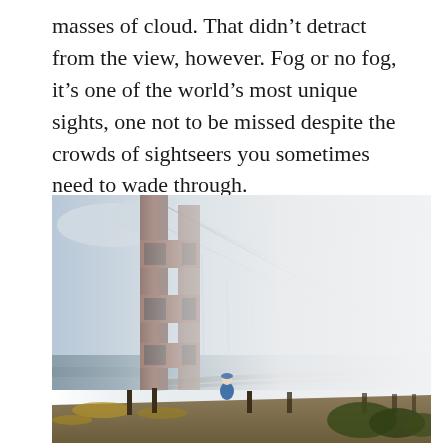masses of cloud. That didn't detract from the view, however. Fog or no fog, it's one of the world's most unique sights, one not to be missed despite the crowds of sightseers you sometimes need to wade through.
[Figure (photo): A photograph of the Golden Gate Bridge in heavy fog, with one large reddish-brown tower visible on the left, suspension cables extending into the mist. The bridge roadway recedes toward the right into thick white fog. A person in a blue jacket stands near the base of the tower. Dry grass, shrubs, and wooden fence posts are visible in the foreground.]